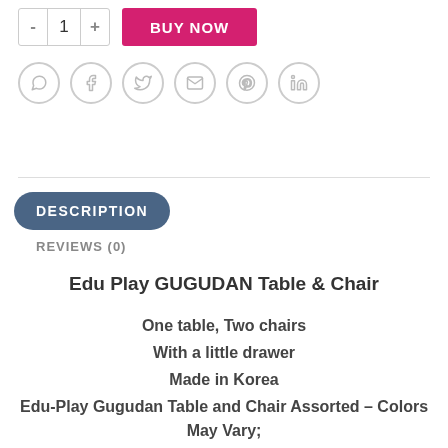[Figure (screenshot): Quantity selector with minus button, 1, plus button, and pink BUY NOW button]
[Figure (screenshot): Social sharing icons row: WhatsApp, Facebook, Twitter, Email, Pinterest, LinkedIn — all in gray circle outlines]
DESCRIPTION
REVIEWS (0)
Edu Play GUGUDAN Table & Chair
One table, Two chairs
With a little drawer
Made in Korea
Edu-Play Gugudan Table and Chair Assorted – Colors May Vary;